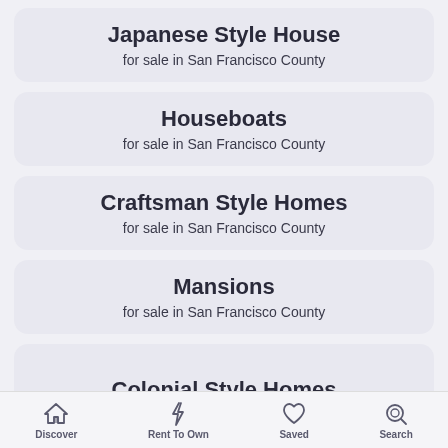Japanese Style House
for sale in San Francisco County
Houseboats
for sale in San Francisco County
Craftsman Style Homes
for sale in San Francisco County
Mansions
for sale in San Francisco County
Colonial Style Homes
Discover | Rent To Own | Saved | Search